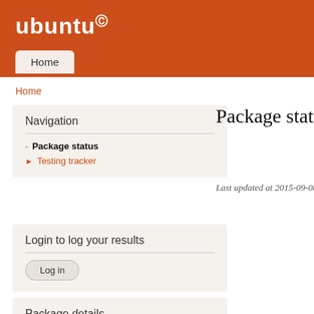ubuntu
Home
Home
Navigation
Package status
Testing tracker
Login to log your results
Log in
Package status fo
Last updated at 2015-09-08 22:21
Package details